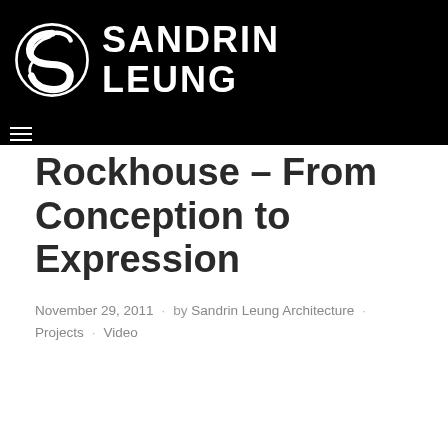[Figure (logo): Sandrin Leung Architecture logo: black background with white stylized 'S' circular swirl icon and white bold text 'SANDRIN LEUNG' in two lines]
Rockhouse – From Conception to Expression
November 29, 2011 · by Sandrin Leung Architecture · Projects · Video